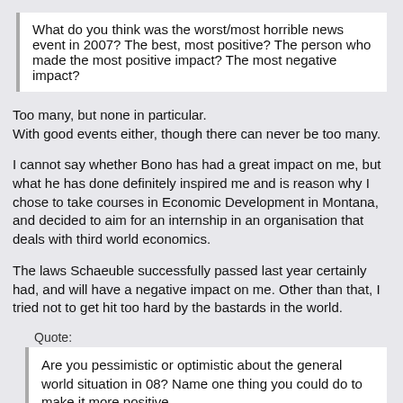What do you think was the worst/most horrible news event in 2007? The best, most positive? The person who made the most positive impact? The most negative impact?
Too many, but none in particular.
With good events either, though there can never be too many.
I cannot say whether Bono has had a great impact on me, but what he has done definitely inspired me and is reason why I chose to take courses in Economic Development in Montana, and decided to aim for an internship in an organisation that deals with third world economics.
The laws Schaeuble successfully passed last year certainly had, and will have a negative impact on me. Other than that, I tried not to get hit too hard by the bastards in the world.
Quote:
Are you pessimistic or optimistic about the general world situation in 08? Name one thing you could do to make it more positive.